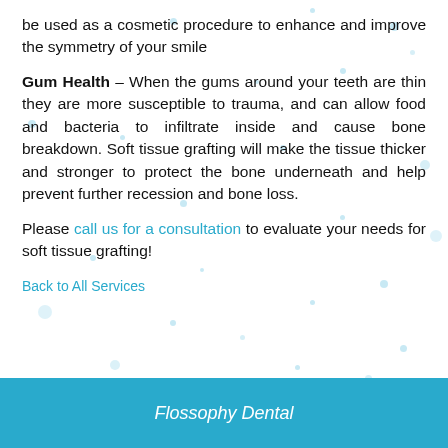be used as a cosmetic procedure to enhance and improve the symmetry of your smile
Gum Health – When the gums around your teeth are thin they are more susceptible to trauma, and can allow food and bacteria to infiltrate inside and cause bone breakdown. Soft tissue grafting will make the tissue thicker and stronger to protect the bone underneath and help prevent further recession and bone loss.
Please call us for a consultation to evaluate your needs for soft tissue grafting!
Back to All Services
Flossophy Dental